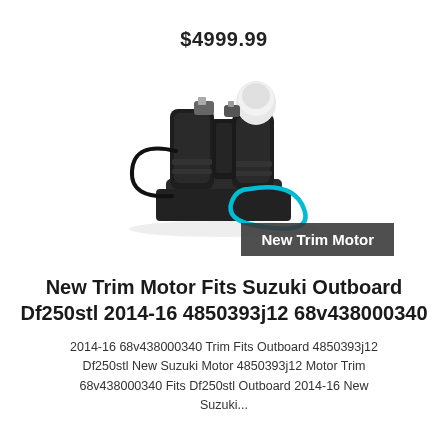$4999.99
[Figure (photo): Product photo of a New Trim Motor for Suzuki outboard motor, black with teal/cyan wire loop, with a white cap on one port. Overlaid label bar reads 'New Trim Motor'.]
New Trim Motor Fits Suzuki Outboard Df250stl 2014-16 4850393j12 68v438000340
2014-16 68v438000340 Trim Fits Outboard 4850393j12 Df250stl New Suzuki Motor 4850393j12 Motor Trim 68v438000340 Fits Df250stl Outboard 2014-16 New Suzuki...